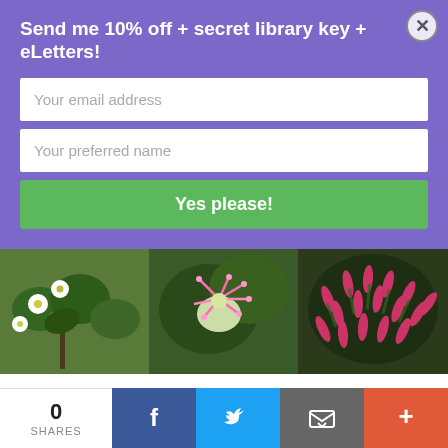Send me 10% off + secret library key + eLetters!
Your email address
Your preferred name
Yes please!
[Figure (photo): Three photos of plants: white flowers, pink exotic flower, red/pink elongated buds]
7. Woman, courage. I was just helping a friend with a website. She has a name that many other people on the web have. We decided the best way to differentiate was to simply be as herself as possible. I need to keep that lesson in mind
0 SHARES | Facebook | Twitter | Email | +